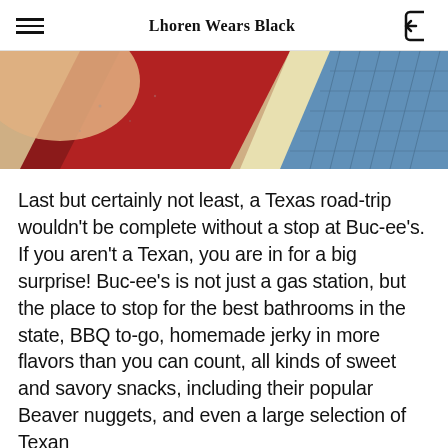Lhoren Wears Black
[Figure (photo): Close-up photo showing colorful diagonal stripes or fabric/card items including red, yellow/cream, and blue patterned sections on a beige/tan surface]
Last but certainly not least, a Texas road-trip wouldn't be complete without a stop at Buc-ee's. If you aren't a Texan, you are in for a big surprise! Buc-ee's is not just a gas station, but the place to stop for the best bathrooms in the state, BBQ to-go, homemade jerky in more flavors than you can count, all kinds of sweet and savory snacks, including their popular Beaver nuggets, and even a large selection of Texan